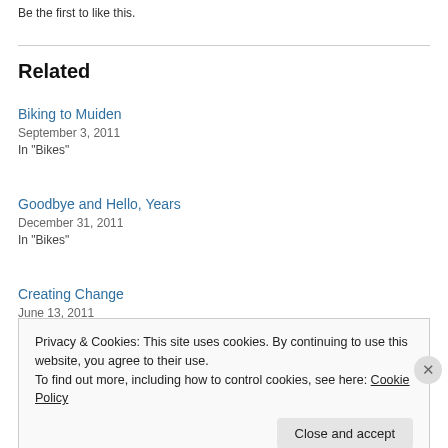Be the first to like this.
Related
Biking to Muiden
September 3, 2011
In "Bikes"
Goodbye and Hello, Years
December 31, 2011
In "Bikes"
Creating Change
June 13, 2011
Privacy & Cookies: This site uses cookies. By continuing to use this website, you agree to their use.
To find out more, including how to control cookies, see here: Cookie Policy
Close and accept